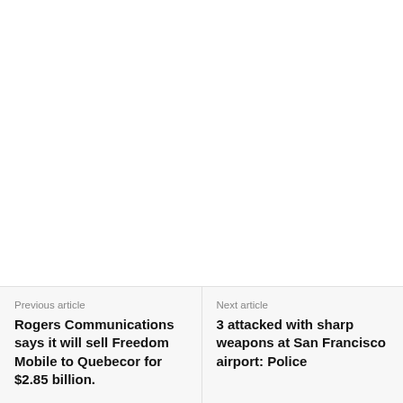[Figure (other): Social share icons: share, Facebook, Twitter, Pinterest, WhatsApp]
Previous article
Rogers Communications says it will sell Freedom Mobile to Quebecor for $2.85 billion.
Next article
3 attacked with sharp weapons at San Francisco airport: Police